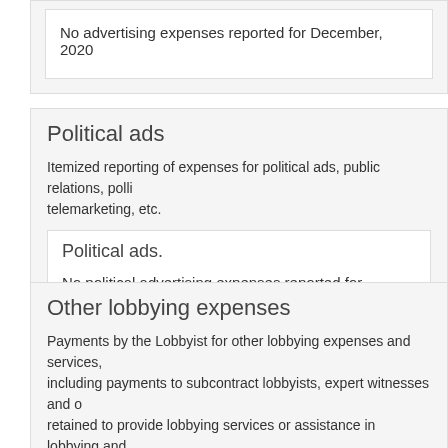No advertising expenses reported for December, 2020
Political ads
Itemized reporting of expenses for political ads, public relations, polling, telemarketing, etc.
Political ads.
No political advertising expenses reported for December, 2020
Other lobbying expenses
Payments by the Lobbyist for other lobbying expenses and services, including payments to subcontract lobbyists, expert witnesses and others retained to provide lobbying services or assistance in lobbying and payments for grass-roots lobbying campaigns.
Detailed expenses.